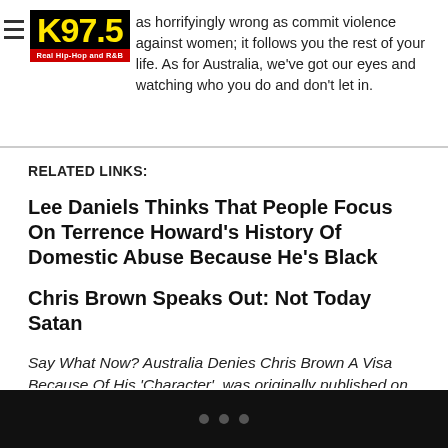as horrifyingly wrong as commit violence against women; it follows you the rest of your life. As for Australia, we've got our eyes and watching who you do and don't let in. [K97.5 logo — Real Hip-Hop and R&B]
RELATED LINKS:
Lee Daniels Thinks That People Focus On Terrence Howard's History Of Domestic Abuse Because He's Black
Chris Brown Speaks Out: Not Today Satan
Say What Now? Australia Denies Chris Brown A Visa Because Of His 'Character'  was originally published on hellobeautiful.com
AUSTRALIA , CHRIS BROWN , DOMESTIC VIOLENCE
• • •